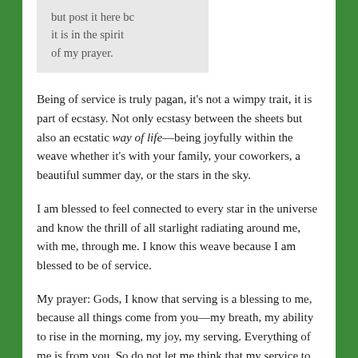but post it here bc it is in the spirit of my prayer.
Being of service is truly pagan, it's not a wimpy trait, it is part of ecstasy. Not only ecstasy between the sheets but also an ecstatic way of life—being joyfully within the weave whether it's with your family, your coworkers, a beautiful summer day, or the stars in the sky.
I am blessed to feel connected to every star in the universe and know the thrill of all starlight radiating around me, with me, through me. I know this weave because I am blessed to be of service.
My prayer: Gods, I know that serving is a blessing to me, because all things come from you—my breath, my ability to rise in the morning, my joy, my serving. Everything of me is from you. So do not let me think that my service to others makes me superior. Getting the chance to serve others makes me very very lucky! It is to you I must turn if